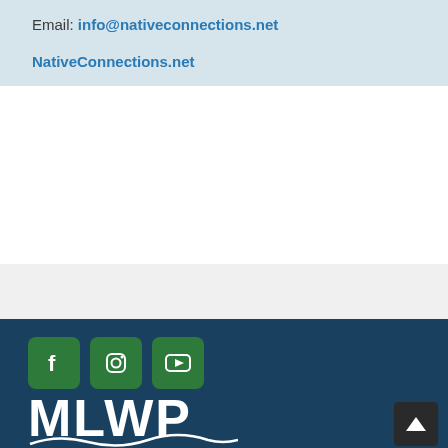Email: info@nativeconnections.net
NativeConnections.net
[Figure (logo): Social media icons: Facebook, Instagram, YouTube (green rounded square buttons)]
[Figure (logo): MLWP logo in white text with wave graphic on dark navy background]
[Figure (other): Back to top button with upward arrow, dark background]